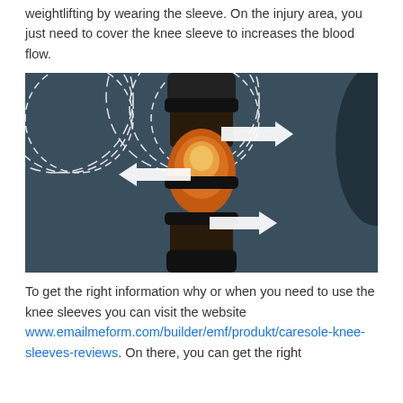weightlifting by wearing the sleeve. On the injury area, you just need to cover the knee sleeve to increases the blood flow.
[Figure (illustration): 3D anatomical illustration of a knee joint inside a compression sleeve with circular arrows indicating blood flow direction around the knee]
To get the right information why or when you need to use the knee sleeves you can visit the website www.emailmeform.com/builder/emf/produkt/caresole-knee-sleeves-reviews. On there, you can get the right